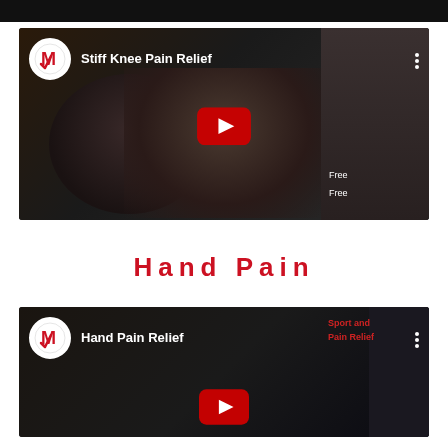[Figure (screenshot): YouTube video thumbnail for 'Stiff Knee Pain Relief' showing a woman holding a product, with YouTube play button overlay and channel logo]
Hand Pain
[Figure (screenshot): YouTube video thumbnail for 'Hand Pain Relief' showing a person outdoors, with YouTube play button overlay and channel logo]